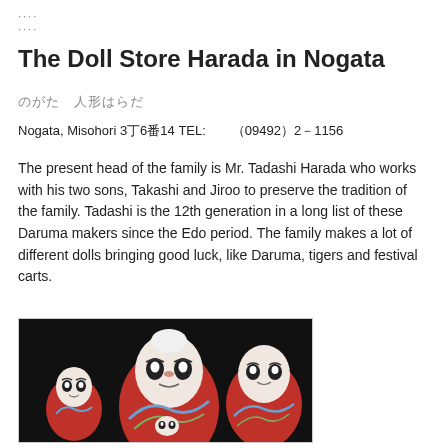....
The Doll Store Harada in Nogata
のがた 人形はらだ
Nogata, Misohori 3丁6番14 TEL:　　（09492）2－1156
The present head of the family is Mr. Tadashi Harada who works with his two sons, Takashi and Jiroo to preserve the tradition of the family. Tadashi is the 12th generation in a long list of these Daruma makers since the Edo period. The family makes a lot of different dolls bringing good luck, like Daruma, tigers and festival carts.
[Figure (photo): Photograph of three red Daruma dolls of different sizes arranged together against a dark background, with white and blue painted facial features and decorative patterns.]